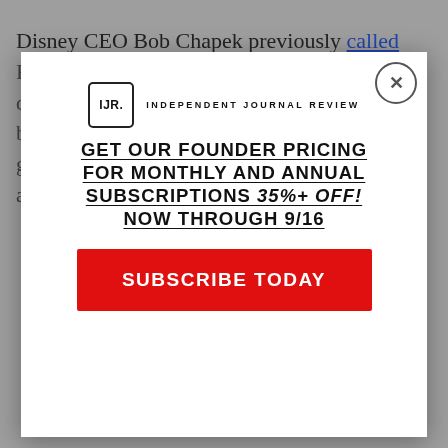Disney CEO Bob Chapek previously called
[Figure (screenshot): Modal popup advertisement for Independent Journal Review subscription. Contains IJR logo, headline 'GET OUR FOUNDER PRICING FOR MONTHLY AND ANNUAL SUBSCRIPTIONS 35%+ OFF! NOW THROUGH 9/16', and a red 'SUBSCRIBE TODAY' button. Close (X) button in top right corner.]